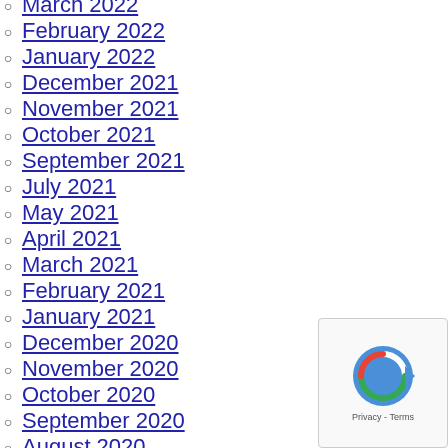March 2022
February 2022
January 2022
December 2021
November 2021
October 2021
September 2021
July 2021
May 2021
April 2021
March 2021
February 2021
January 2021
December 2020
November 2020
October 2020
September 2020
August 2020
July 2020
June 2020
May 2020
April 2020
March 2020
February 2020
January 2020
December 2019